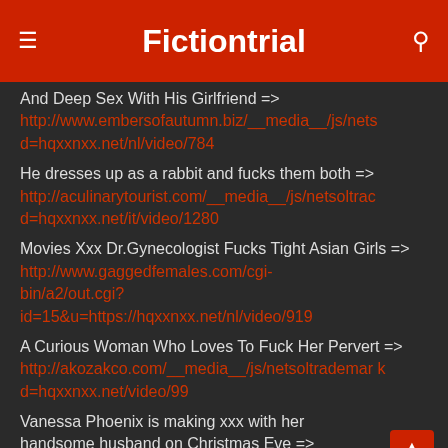Fictiontrial
And Deep Sex With His Girlfriend => http://www.embersofautumn.biz/__media__/js/nets d=hqxxnxx.net/nl/video/784
He dresses up as a rabbit and fucks them both => http://aculinarytourist.com/__media__/js/netsoltrac d=hqxxnxx.net/it/video/1280
Movies Xxx Dr.Gynecologist Fucks Tight Asian Girls => http://www.gaggedfemales.com/cgi-bin/a2/out.cgi?id=15&u=https://hqxxnxx.net/nl/video/919
A Curious Woman Who Loves To Fuck Her Pervert => http://akozakco.com/__media__/js/netsoltrademark d=hqxxnxx.net/video/99
Vanessa Phoenix is making xxx with her handsome husband on Christmas Eve =>